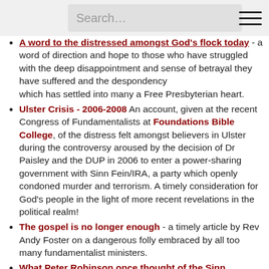Search…
A word to the distressed amongst God's flock today - a word of direction and hope to those who have struggled with the deep disappointment and sense of betrayal they have suffered and the despondency which has settled into many a Free Presbyterian heart.
Ulster Crisis - 2006-2008 An account, given at the recent Congress of Fundamentalists at Foundations Bible College, of the distress felt amongst believers in Ulster during the controversy aroused by the decision of Dr Paisley and the DUP in 2006 to enter a power-sharing government with Sinn Fein/IRA, a party which openly condoned murder and terrorism. A timely consideration for God's people in the light of more recent revelations in the political realm!
The gospel is no longer enough - a timely article by Rev Andy Foster on a dangerous folly embraced by all too many fundamentalist ministers.
What Peter Robinson once thought of the Sinn Fein/IRA man to whom he is politically shackled
Premillenial Protestantism
Lesson learned from 30 years in Christian education. The substance of an address given at the 2019 Annual Education Board Dinner in Lisburn, Friday